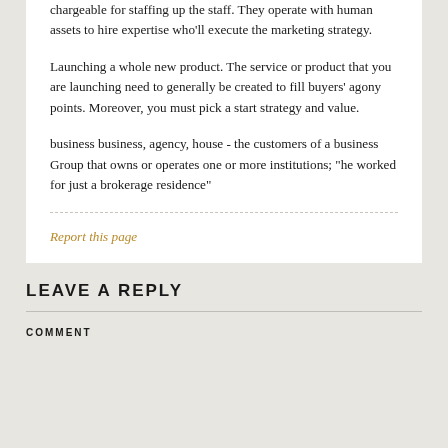chargeable for staffing up the staff. They operate with human assets to hire expertise who'll execute the marketing strategy.
Launching a whole new product. The service or product that you are launching need to generally be created to fill buyers' agony points. Moreover, you must pick a start strategy and value.
business business, agency, house - the customers of a business Group that owns or operates one or more institutions; "he worked for just a brokerage residence"
Report this page
LEAVE A REPLY
COMMENT